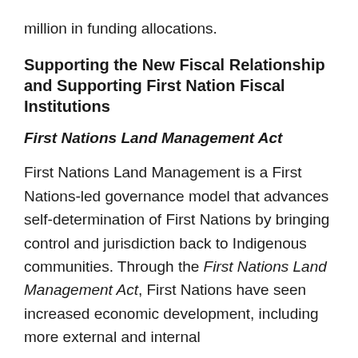million in funding allocations.
Supporting the New Fiscal Relationship and Supporting First Nation Fiscal Institutions
First Nations Land Management Act
First Nations Land Management is a First Nations-led governance model that advances self-determination of First Nations by bringing control and jurisdiction back to Indigenous communities. Through the First Nations Land Management Act, First Nations have seen increased economic development, including more external and internal